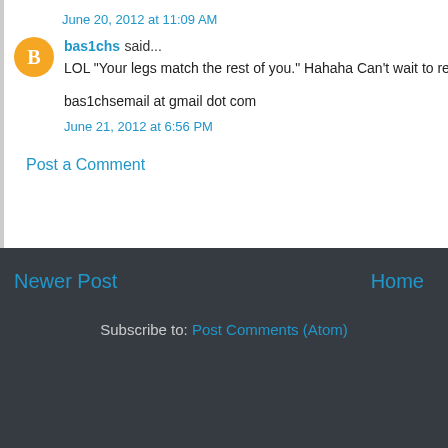June 20, 2012 at 11:09 AM
bas1chs said...
LOL "Your legs match the rest of you." Hahaha Can't wait to read
bas1chsemail at gmail dot com
June 21, 2012 at 6:56 PM
Post a Comment
Newer Post
Home
Subscribe to: Post Comments (Atom)